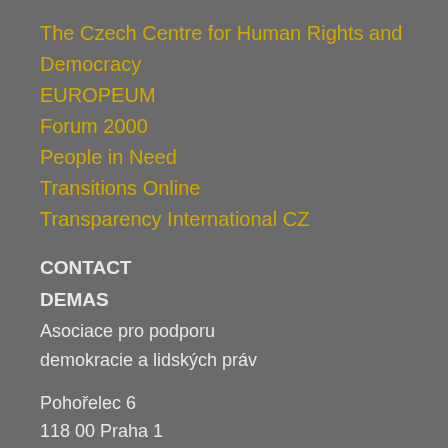The Czech Centre for Human Rights and Democracy
EUROPEUM
Forum 2000
People in Need
Transitions Online
Transparency International CZ
CONTACT
DEMAS
Asociace pro podporu demokracie a lidských práv
Pohořelec 6
118 00 Praha 1
info@demas.cz